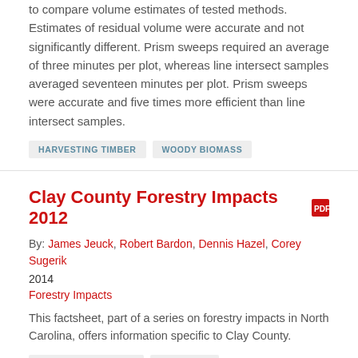to compare volume estimates of tested methods. Estimates of residual volume were accurate and not significantly different. Prism sweeps required an average of three minutes per plot, whereas line intersect samples averaged seventeen minutes per plot. Prism sweeps were accurate and five times more efficient than line intersect samples.
HARVESTING TIMBER
WOODY BIOMASS
Clay County Forestry Impacts 2012
By: James Jeuck, Robert Bardon, Dennis Hazel, Corey Sugerik
2014
Forestry Impacts
This factsheet, part of a series on forestry impacts in North Carolina, offers information specific to Clay County.
FOREST ECONOMICS
FORESTRY